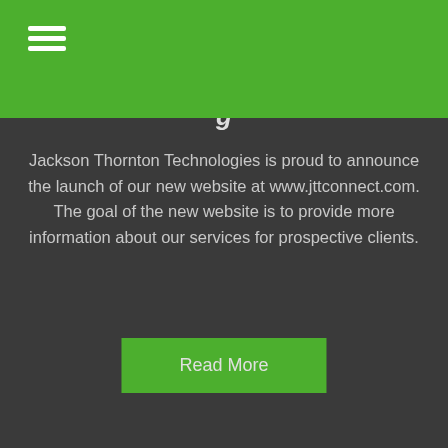g
Jackson Thornton Technologies is proud to announce the launch of our new website at www.jttconnect.com. The goal of the new website is to provide more information about our services for prospective clients.
Read More
Copyright 2022 Jackson Thornton Technologies. All Rights Reserved.
Powered by JoomConnect